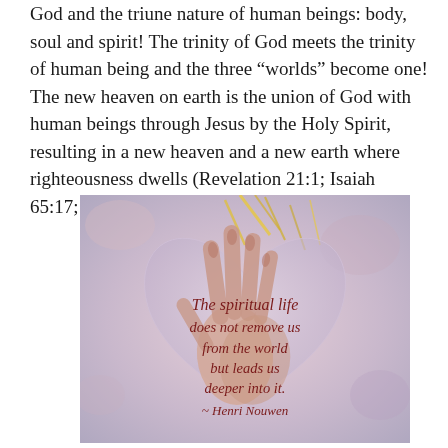God and the triune nature of human beings: body, soul and spirit! The trinity of God meets the trinity of human being and the three “worlds” become one! The new heaven on earth is the union of God with human beings through Jesus by the Holy Spirit, resulting in a new heaven and a new earth where righteousness dwells (Revelation 21:1; Isaiah 65:17; 2 Peter 3:13)!
[Figure (illustration): Inspirational illustration featuring hands over a heart shape with text: 'The spiritual life does not remove us from the world but leads us deeper into it. ~ Henri Nouwen']